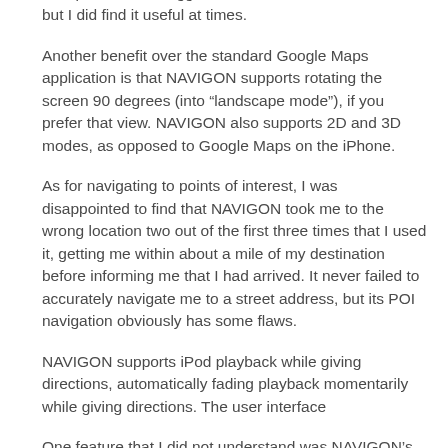the speed limit to trigger its audible alert of 15% FON, but I did find it useful at times.
Another benefit over the standard Google Maps application is that NAVIGON supports rotating the screen 90 degrees (into “landscape mode”), if you prefer that view. NAVIGON also supports 2D and 3D modes, as opposed to Google Maps on the iPhone.
As for navigating to points of interest, I was disappointed to find that NAVIGON took me to the wrong location two out of the first three times that I used it, getting me within about a mile of my destination before informing me that I had arrived. It never failed to accurately navigate me to a street address, but its POI navigation obviously has some flaws.
NAVIGON supports iPod playback while giving directions, automatically fading playback momentarily while giving directions. The user interface
One feature that I did not understand was NAVIGON’s